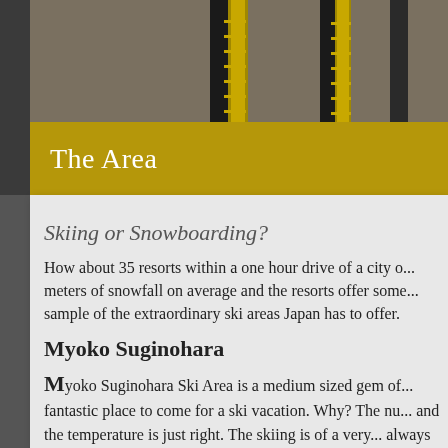[Figure (photo): Top portion of ski lift gondola cables and yellow ladder/gondola structures against a grey-brown background. Dark vertical cable towers with yellow gondola car elements visible.]
The Area
Skiing or Snowboarding?
How about 35 resorts within a one hour drive of a city o... meters of snowfall on average and the resorts offer some... sample of the extraordinary ski areas Japan has to offer.
Myoko Suginohara
Myoko Suginohara Ski Area is a medium sized gem of... fantastic place to come for a ski vacation. Why? The nu... and the temperature is just right. The skiing is of a very... always soft. It is one of the reasons locals here keep skii...
The terrain at Suginohara is excellent. It is varied; long... can really find your ski epiphany. The gondola run is wh...